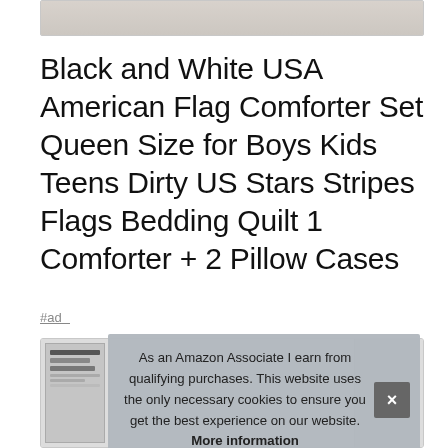[Figure (photo): Partial top of a product image showing a bedding comforter on a surface]
Black and White USA American Flag Comforter Set Queen Size for Boys Kids Teens Dirty US Stars Stripes Flags Bedding Quilt 1 Comforter + 2 Pillow Cases
#ad
[Figure (screenshot): Partial product thumbnail images visible behind cookie consent banner]
As an Amazon Associate I earn from qualifying purchases. This website uses the only necessary cookies to ensure you get the best experience on our website. More information